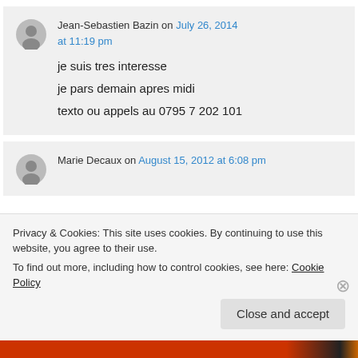Jean-Sebastien Bazin on July 26, 2014 at 11:19 pm
je suis tres interesse
je pars demain apres midi
texto ou appels au 0795 7 202 101
Marie Decaux on August 15, 2012 at 6:08 pm
Privacy & Cookies: This site uses cookies. By continuing to use this website, you agree to their use.
To find out more, including how to control cookies, see here: Cookie Policy
Close and accept